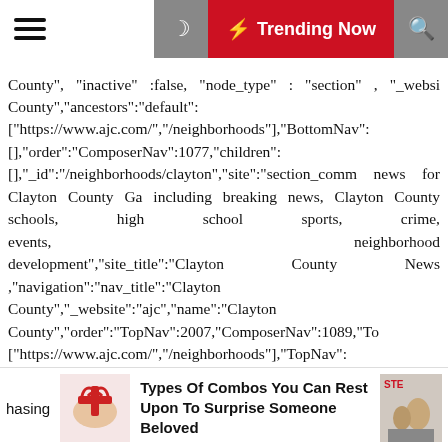⚡ Trending Now
County","inactive":false,"node_type":"section","_website County","ancestors":"default": ["https://www.ajc.com/","/neighborhoods"],"BottomNav": [],"order":"ComposerNav":1077,"children": [],"_id":"/neighborhoods/clayton","site":"section_comm news for Clayton County Ga including breaking news, Clayton County schools, high school sports, crime, events, neighborhood development","site_title":"Clayton County News ,"navigation":"nav_title":"Clayton County","_website":"ajc","name":"Clayton County","order":"TopNav":2007,"ComposerNav":1089,"To ["https://www.ajc.com/","/neighborhoods"],"TopNav": ["https://www.ajc.com/","/neighborhoods"],"BottomNav": [],"TopNavRedesign": ["https://www.ajc.com/","/neighborhoods"],"inactive":fals [],"_id":"/neighborhoods/cobb","parent":"default":"/neig news for Cobb County Ga neighborhoods including
hasing   Types Of Combos You Can Rest Upon To Surprise Someone Beloved